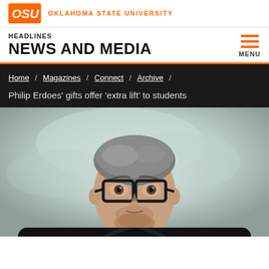OKLAHOMA STATE UNIVERSITY
NEWS AND MEDIA
HEADLINES
Home / Magazines / Connect / Archive /
Philip Erdoes' gifts offer 'extra lift' to students
[Figure (photo): Portrait photo of a middle-aged man with salt-and-pepper hair wearing thick-framed black glasses and a dark jacket, photographed against a light grey/blue cloudy background. The subject is looking slightly upward toward the camera.]